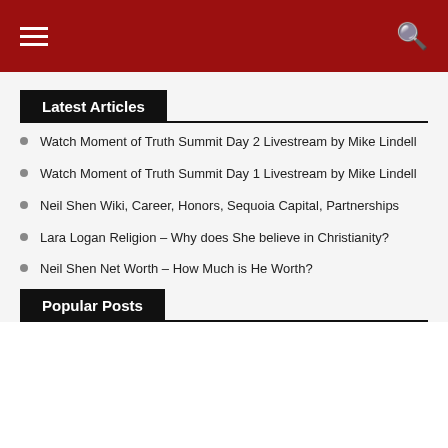Latest Articles
Watch Moment of Truth Summit Day 2 Livestream by Mike Lindell
Watch Moment of Truth Summit Day 1 Livestream by Mike Lindell
Neil Shen Wiki, Career, Honors, Sequoia Capital, Partnerships
Lara Logan Religion – Why does She believe in Christianity?
Neil Shen Net Worth – How Much is He Worth?
Popular Posts